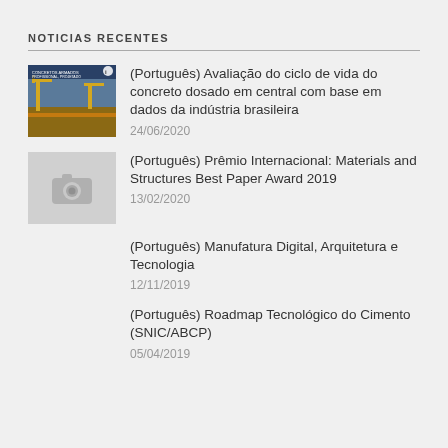NOTICIAS RECENTES
(Português) Avaliação do ciclo de vida do concreto dosado em central com base em dados da indústria brasileira
24/06/2020
(Português) Prêmio Internacional: Materials and Structures Best Paper Award 2019
13/02/2020
(Português) Manufatura Digital, Arquitetura e Tecnologia
12/11/2019
(Português) Roadmap Tecnológico do Cimento (SNIC/ABCP)
05/04/2019